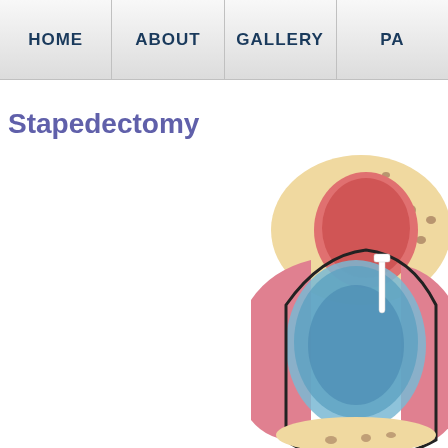HOME | ABOUT | GALLERY | PA...
Stapedectomy
[Figure (illustration): Medical illustration of a stapedectomy procedure showing cross-section of the ear anatomy with ossicles, including the stapes bone area. The image shows pinkish-red tissue of the ear canal, a blue oval window region, beige bony structures with brown spots (representing spongy bone from otosclerosis), and a white prosthesis being inserted. The illustration depicts the surgical replacement of the stapes bone.]